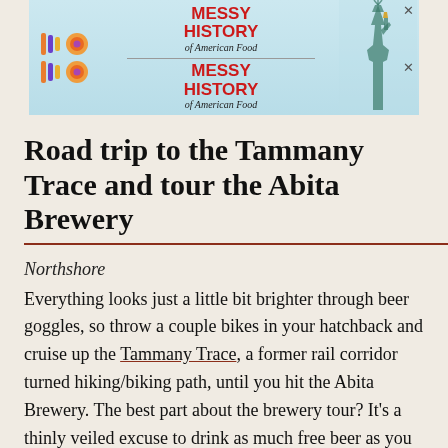[Figure (screenshot): Advertisement banner for 'Messy History of American Food' — light blue gradient background with colorful vertical bar logo on left, Statue of Liberty image on right, red bold title text, two stacked ad units with close X buttons]
Road trip to the Tammany Trace and tour the Abita Brewery
Northshore
Everything looks just a little bit brighter through beer goggles, so throw a couple bikes in your hatchback and cruise up the Tammany Trace, a former rail corridor turned hiking/biking path, until you hit the Abita Brewery. The best part about the brewery tour? It's a thinly veiled excuse to drink as much free beer as you possibly can. (Just be sure